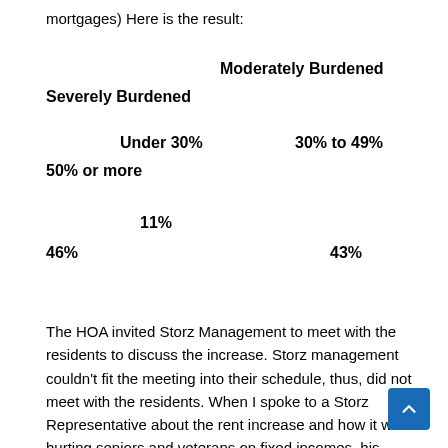mortgages) Here is the result:
Moderately Burdened
Severely Burdened
Under 30%      30% to 49%
50% or more
11%
46%                43%
The HOA invited Storz Management to meet with the residents to discuss the increase. Storz management couldn't fit the meeting into their schedule, thus, did not meet with the residents. When I spoke to a Storz Representative about the rent increase and how it was hurting seniors and veterans on fixed incomes, his